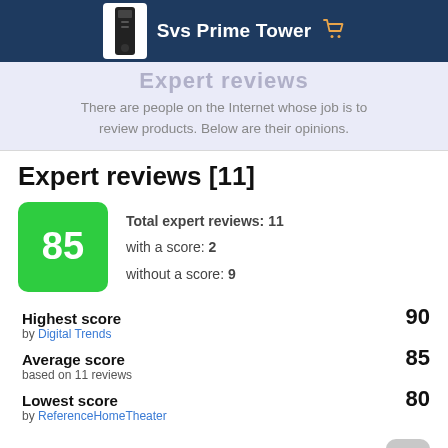Svs Prime Tower
Expert reviews
There are people on the Internet whose job is to review products. Below are their opinions.
Expert reviews [11]
Total expert reviews: 11
with a score: 2
without a score: 9
| Label | Source | Score |
| --- | --- | --- |
| Highest score | Digital Trends | 90 |
| Average score | based on 11 reviews | 85 |
| Lowest score | ReferenceHomeTheater | 80 |
Score distribution:
[Figure (bar-chart): Score distribution]